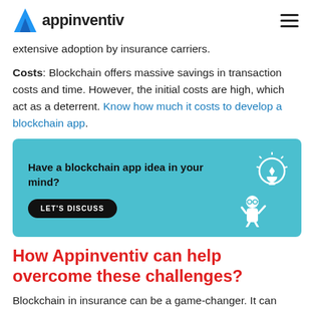appinventiv
extensive adoption by insurance carriers.
Costs: Blockchain offers massive savings in transaction costs and time. However, the initial costs are high, which act as a deterrent. Know how much it costs to develop a blockchain app.
[Figure (infographic): Teal/cyan banner with text 'Have a blockchain app idea in your mind?' and a black pill-shaped button labeled 'LET'S DISCUSS', with a cartoon character and lightbulb illustration on the right]
How Appinventiv can help overcome these challenges?
Blockchain in insurance can be a game-changer. It can